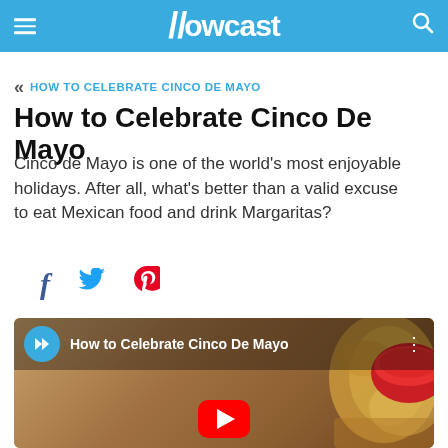Howcast
« HOW TO CELEBRATE CINCO DE MAYO
How to Celebrate Cinco De Mayo
Cinco de Mayo is one of the world's most enjoyable holidays. After all, what's better than a valid excuse to eat Mexican food and drink Margaritas?
[Figure (screenshot): Social sharing icons: Facebook (f), Twitter (bird), Pinterest (p)]
[Figure (screenshot): YouTube video thumbnail showing 'How to Celebrate Cinco De Mayo' with Howcast logo, play button, chips and salsa in background]